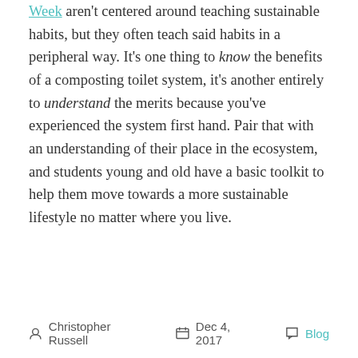Week aren't centered around teaching sustainable habits, but they often teach said habits in a peripheral way. It's one thing to know the benefits of a composting toilet system, it's another entirely to understand the merits because you've experienced the system first hand. Pair that with an understanding of their place in the ecosystem, and students young and old have a basic toolkit to help them move towards a more sustainable lifestyle no matter where you live.
Christopher Russell  Dec 4, 2017  Blog